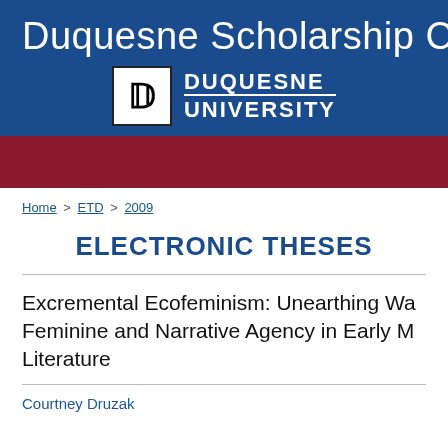Duquesne Scholarship C
[Figure (logo): Duquesne University logo with stylized D and text DUQUESNE UNIVERSITY]
Home > ETD > 2009
ELECTRONIC THESES
Excremental Ecofeminism: Unearthing Wa... Feminine and Narrative Agency in Early M... Literature
Courtney Druzak